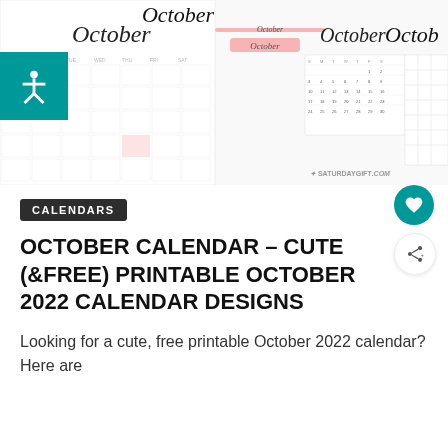[Figure (screenshot): Hero image showing multiple October 2022 calendar printable designs in various styles — script lettering, grid layouts, pink accents. Includes a teal accessibility button on the left side and a Saturday Gift watermark.]
CALENDARS
OCTOBER CALENDAR – CUTE (&FREE) PRINTABLE OCTOBER 2022 CALENDAR DESIGNS
Looking for a cute, free printable October 2022 calendar? Here are